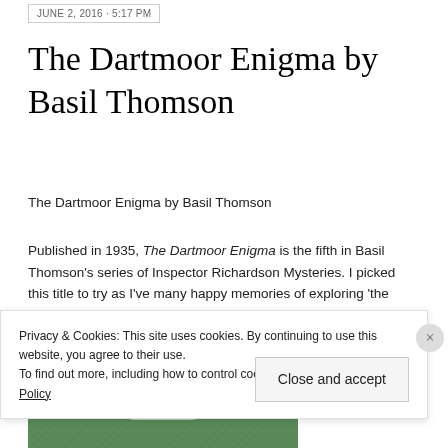JUNE 2, 2016 · 5:17 PM
The Dartmoor Enigma by Basil Thomson
The Dartmoor Enigma by Basil Thomson
Published in 1935, The Dartmoor Enigma is the fifth in Basil Thomson's series of Inspector Richardson Mysteries. I picked this title to try as I've many happy memories of exploring 'the moor' as it's known in South Devon.
[Figure (photo): Book cover of The Dartmoor Enigma — green textured cover with title text partially visible at the bottom]
Privacy & Cookies: This site uses cookies. By continuing to use this website, you agree to their use.
To find out more, including how to control cookies, see here: Cookie Policy
Close and accept